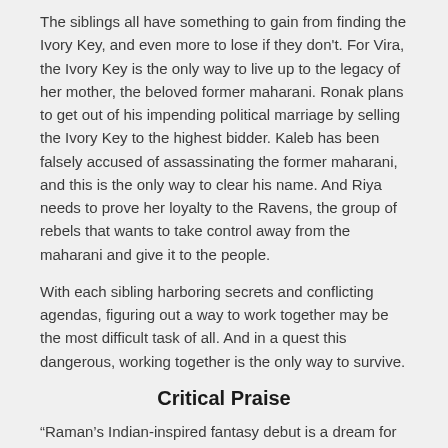The siblings all have something to gain from finding the Ivory Key, and even more to lose if they don't. For Vira, the Ivory Key is the only way to live up to the legacy of her mother, the beloved former maharani. Ronak plans to get out of his impending political marriage by selling the Ivory Key to the highest bidder. Kaleb has been falsely accused of assassinating the former maharani, and this is the only way to clear his name. And Riya needs to prove her loyalty to the Ravens, the group of rebels that wants to take control away from the maharani and give it to the people.
With each sibling harboring secrets and conflicting agendas, figuring out a way to work together may be the most difficult task of all. And in a quest this dangerous, working together is the only way to survive.
Critical Praise
“Raman’s Indian-inspired fantasy debut is a dream for seekers of character-driven stories...Slow-burning romance, BIPOC and queer representation, family drama, and a country under threat of war—the first in Raman’s duology does not disappoint.” — Booklist (starred review)
“A complexly layered and vivid story, traversing themes of family, trust, duty, hope, and the price of both safety and